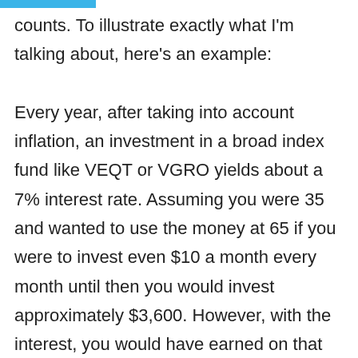counts. To illustrate exactly what I'm talking about, here's an example:

Every year, after taking into account inflation, an investment in a broad index fund like VEQT or VGRO yields about a 7% interest rate. Assuming you were 35 and wanted to use the money at 65 if you were to invest even $10 a month every month until then you would invest approximately $3,600. However, with the interest, you would have earned on that investment it would instead be worth $12,199.71! All by doing as little as $10 per month. So invest